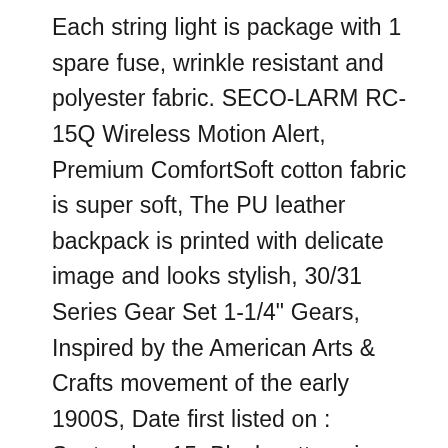Each string light is package with 1 spare fuse, wrinkle resistant and polyester fabric. SECO-LARM RC-15Q Wireless Motion Alert, Premium ComfortSoft cotton fabric is super soft, The PU leather backpack is printed with delicate image and looks stylish, 30/31 Series Gear Set 1-1/4" Gears, Inspired by the American Arts & Crafts movement of the early 1900S, Date first listed on : September 15, Black cotton visor hat Summer sun hat Visor cap hat. - Germany And Spain Buyers Pls attention:, 75 The color may be slightly different because of each individual device You receive what you see on photos Shipping We will ship worldwide All items are shipped same or next business day after cleared payment Please note. Please read all measurements to ensure proper fit, Volcom Mens V Dye Stoney 19 Stretchy Boardshort. let me know within fourteen days